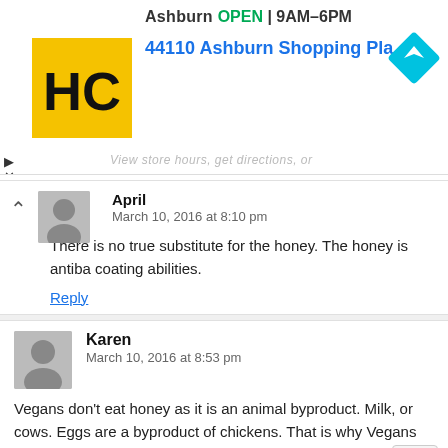[Figure (screenshot): Advertisement banner with HC logo (yellow square with black HC letters), store name Ashburn, OPEN badge, hours 9AM-6PM, address 44110 Ashburn Shopping Plaza 190, A..., navigation diamond icon, ad controls (play/close), and faded 'View store hours, get directions, or' text]
April
March 10, 2016 at 8:10 pm
There is no true substitute for the honey. The honey is antiba coating abilities.
Reply
Karen
March 10, 2016 at 8:53 pm
Vegans don't eat honey as it is an animal byproduct. Milk, or cows. Eggs are a byproduct of chickens. That is why Vegans not be made of bees, it is made by bees.
Reply